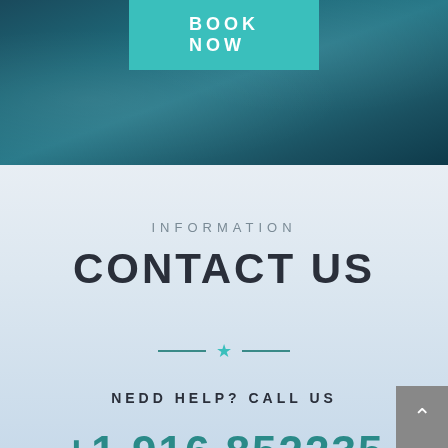[Figure (photo): Dark teal/blue abstract background with subtle network lines, partially visible at top]
BOOK NOW
INFORMATION
CONTACT US
— ★ —
NEDD HELP? CALL US
+1 916 852235